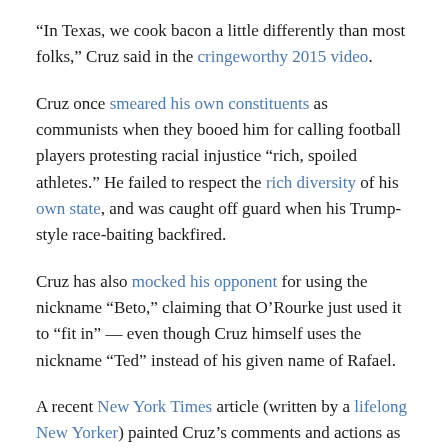“In Texas, we cook bacon a little differently than most folks,” Cruz said in the cringeworthy 2015 video.
Cruz once smeared his own constituents as communists when they booed him for calling football players protesting racial injustice “rich, spoiled athletes.” He failed to respect the rich diversity of his own state, and was caught off guard when his Trump-style race-baiting backfired.
Cruz has also mocked his opponent for using the nickname “Beto,” claiming that O’Rourke just used it to “fit in” — even though Cruz himself uses the nickname “Ted” instead of his given name of Rafael.
A recent New York Times article (written by a lifelong New Yorker) painted Cruz’s comments and actions as those of a